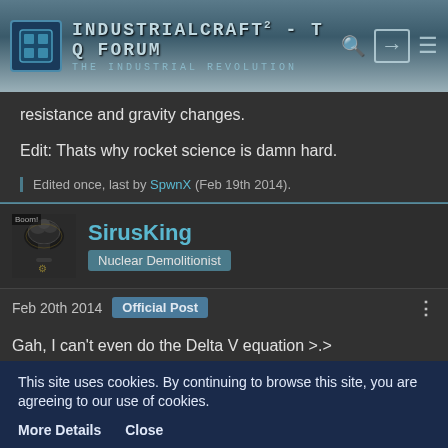IndustrialCraft² - The Forum - The Industrial Revolution
resistance and gravity changes.
Edit: Thats why rocket science is damn hard.
Edited once, last by SpwnX (Feb 19th 2014).
SirusKing
Nuclear Demolitionist
Feb 20th 2014   Official Post
Gah, I can't even do the Delta V equation >.>
This site uses cookies. By continuing to browse this site, you are agreeing to our use of cookies.
More Details   Close